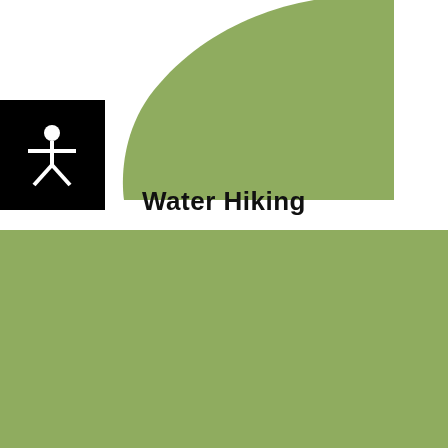[Figure (illustration): Green organic leaf/wave shape at top center of page]
[Figure (logo): Black square with white accessibility person icon (circle head with arms and legs outstretched)]
Water Hiking
CONTACT
Landratsamt Schmalkalden-Meiningen Obertshäuser Platz 1 98617 Meiningen
Telephone: 03963 485-0 Email: info@lra-sm.de